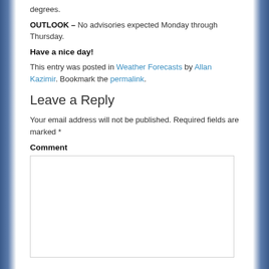degrees.
OUTLOOK – No advisories expected Monday through Thursday.
Have a nice day!
This entry was posted in Weather Forecasts by Allan Kazimir. Bookmark the permalink.
Leave a Reply
Your email address will not be published. Required fields are marked *
Comment